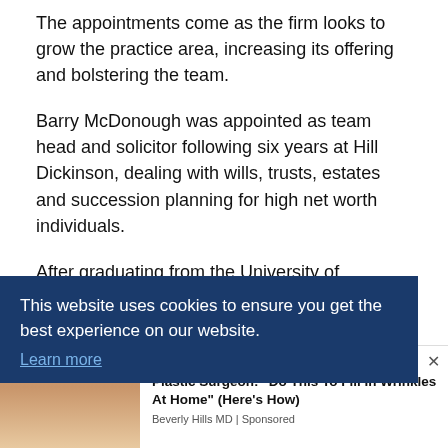The appointments come as the firm looks to grow the practice area, increasing its offering and bolstering the team.
Barry McDonough was appointed as team head and solicitor following six years at Hill Dickinson, dealing with wills, trusts, estates and succession planning for high net worth individuals.
After graduating from the University of Liverpool with a [partially obscured] gal in
This website uses cookies to ensure you get the best experience on our website. Learn more
[Figure (photo): Advertisement overlay showing a woman's face close-up with text: Plastic Surgeon: "Do This To Fill In Wrinkles At Home" (Here's How) — Beverly Hills MD | Sponsored]